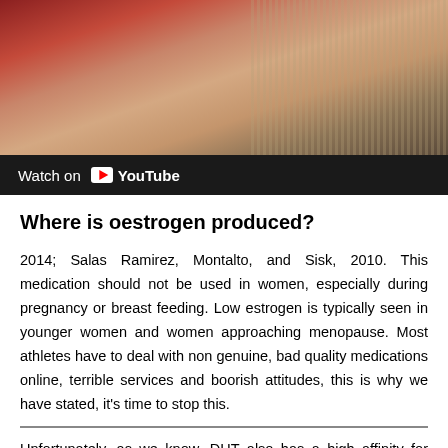[Figure (screenshot): YouTube video thumbnail showing a person in traditional attire with a red and beige background, with a 'Watch on YouTube' bar below]
Where is oestrogen produced?
2014; Salas Ramirez, Montalto, and Sisk, 2010. This medication should not be used in women, especially during pregnancy or breast feeding. Low estrogen is typically seen in younger women and women approaching menopause. Most athletes have to deal with non genuine, bad quality medications online, terrible services and boorish attitudes, this is why we have stated, it’s time to stop this.
Unfortunately, as we know, DHT also has a high affinity for binding to receptors in the scalp and prostate, causing some